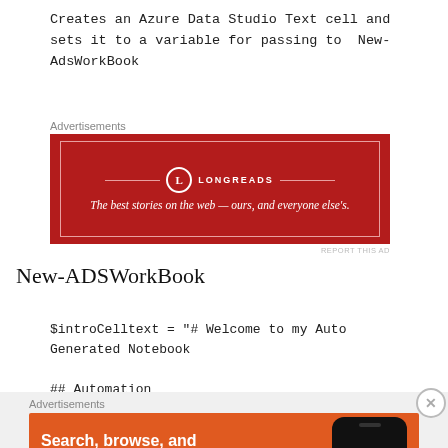Creates an Azure Data Studio Text cell and sets it to a variable for passing to New-AdsWorkBook
[Figure (screenshot): Longreads advertisement banner — dark red background with Longreads logo and tagline: The best stories on the web — ours, and everyone else's.]
New-ADSWorkBook
$introCelltext = "# Welcome to my Auto Generated Notebook

## Automation
[Figure (screenshot): DuckDuckGo advertisement banner — orange background with text: Search, browse, and email with more privacy. All in One Free App. Showing a phone with DuckDuckGo logo.]